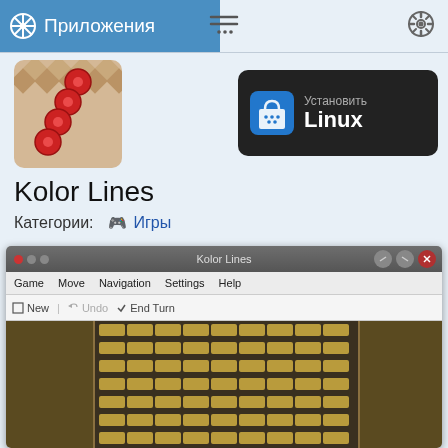Приложения
[Figure (screenshot): KDE app store page for Kolor Lines game showing app icon, install button for Linux, title, category, and a screenshot of the game]
Kolor Lines
Категории: 🎮 Игры
[Figure (screenshot): Screenshot of Kolor Lines game window showing the game board with rows of wooden pegs in a dark grid, menu bar with Game, Move, Navigation, Settings, Help, and toolbar with New, Undo, End Turn buttons]